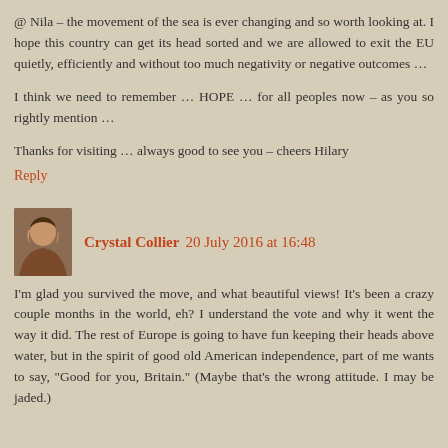@ Nila – the movement of the sea is ever changing and so worth looking at. I hope this country can get its head sorted and we are allowed to exit the EU quietly, efficiently and without too much negativity or negative outcomes …
I think we need to remember … HOPE … for all peoples now – as you so rightly mention …
Thanks for visiting … always good to see you – cheers Hilary
Reply
Crystal Collier 20 July 2016 at 16:48
I'm glad you survived the move, and what beautiful views! It's been a crazy couple months in the world, eh? I understand the vote and why it went the way it did. The rest of Europe is going to have fun keeping their heads above water, but in the spirit of good old American independence, part of me wants to say, "Good for you, Britain." (Maybe that's the wrong attitude. I may be jaded.)